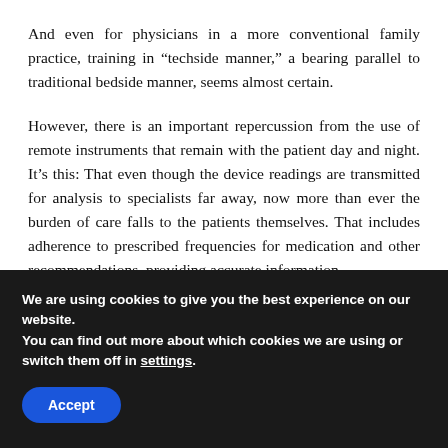And even for physicians in a more conventional family practice, training in “techside manner,” a bearing parallel to traditional bedside manner, seems almost certain.
However, there is an important repercussion from the use of remote instruments that remain with the patient day and night. It’s this: That even though the device readings are transmitted for analysis to specialists far away, now more than ever the burden of care falls to the patients themselves. That includes adherence to prescribed frequencies for medication and other recommendations, providing accurate information
We are using cookies to give you the best experience on our website.
You can find out more about which cookies we are using or switch them off in settings.
Accept